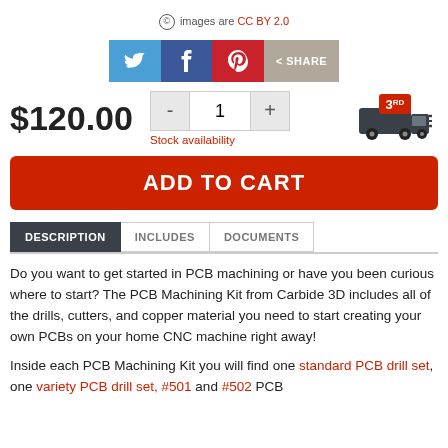images are CC BY 2.0
[Figure (infographic): Social share buttons: Twitter (blue bird), Facebook (f), Pinterest (p), and a grey SHARE button]
$120.00
[Figure (infographic): Quantity selector with minus button, quantity 1, plus button, and a 3RD party shipping truck icon]
Stock availability
ADD TO CART
DESCRIPTION | INCLUDES | DOCUMENTS
Do you want to get started in PCB machining or have you been curious where to start? The PCB Machining Kit from Carbide 3D includes all of the drills, cutters, and copper material you need to start creating your own PCBs on your home CNC machine right away!
Inside each PCB Machining Kit you will find one standard PCB drill set, one variety PCB drill set, #501 and #502 PCB